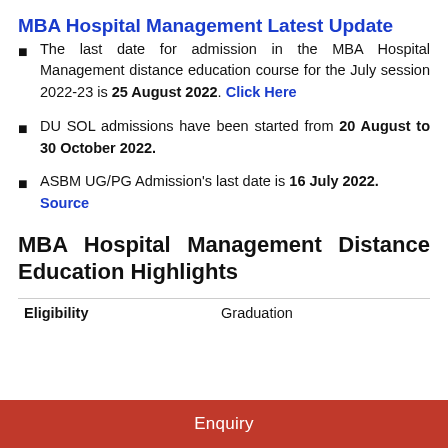MBA Hospital Management Latest Update
The last date for admission in the MBA Hospital Management distance education course for the July session 2022-23 is 25 August 2022. Click Here
DU SOL admissions have been started from 20 August to 30 October 2022.
ASBM UG/PG Admission's last date is 16 July 2022. Source
MBA Hospital Management Distance Education Highlights
| Eligibility | Graduation |
| --- | --- |